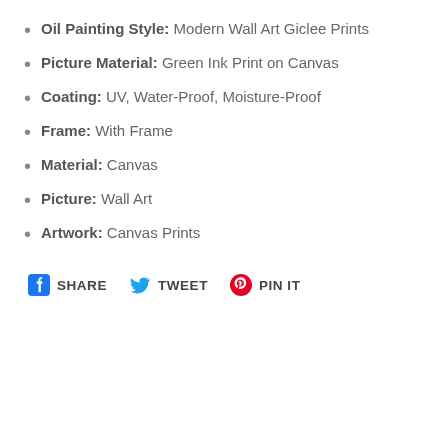Oil Painting Style: Modern Wall Art Giclee Prints
Picture Material: Green Ink Print on Canvas
Coating: UV, Water-Proof, Moisture-Proof
Frame: With Frame
Material: Canvas
Picture: Wall Art
Artwork: Canvas Prints
SHARE   TWEET   PIN IT